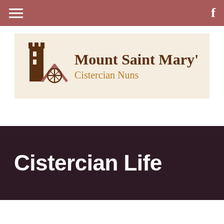Navigation bar with hamburger menu and Facebook icon
[Figure (logo): Mount Saint Mary's Cistercian Nuns logo with tower and cross icon on beige background]
Cistercian Life